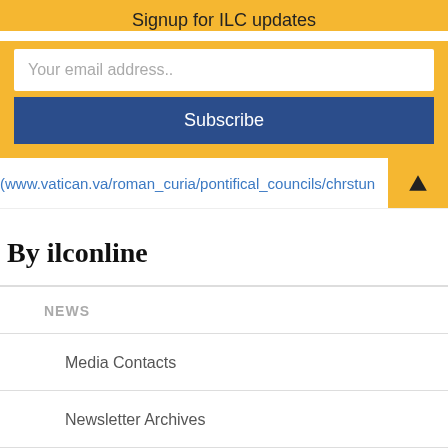Signup for ILC updates
Your email address..
Subscribe
(www.vatican.va/roman_curia/pontifical_councils/chrstun
By ilconline
NEWS
Media Contacts
Newsletter Archives